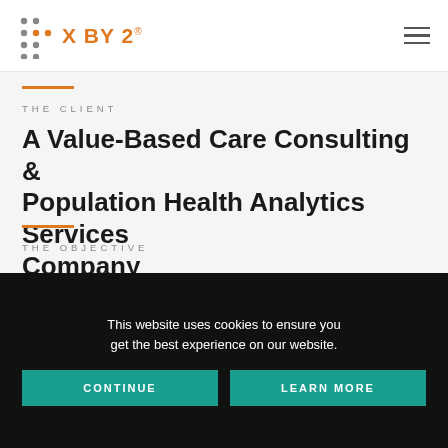X BY 2®
THE CLIENT
A Value-Based Care Consulting & Population Health Analytics Services Company
THE OBJECTIVE
This website uses cookies to ensure you get the best experience on our website.
CONTINUE   LEARN MORE